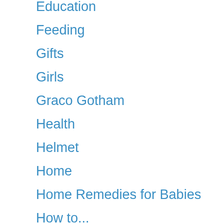Education
Feeding
Gifts
Girls
Graco Gotham
Health
Helmet
Home
Home Remedies for Babies
How to...
Infant
Lawn Mowers
Light Strollers
Maternity Clothes